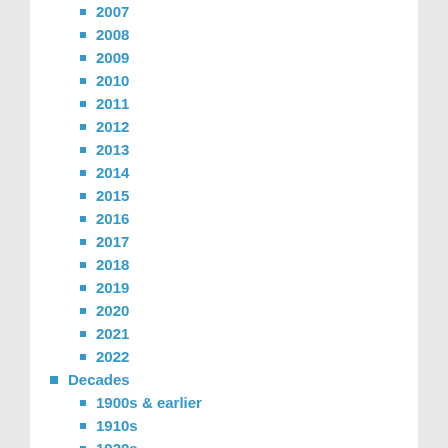2007
2008
2009
2010
2011
2012
2013
2014
2015
2016
2017
2018
2019
2020
2021
2022
Decades
1900s & earlier
1910s
1920s
1930s